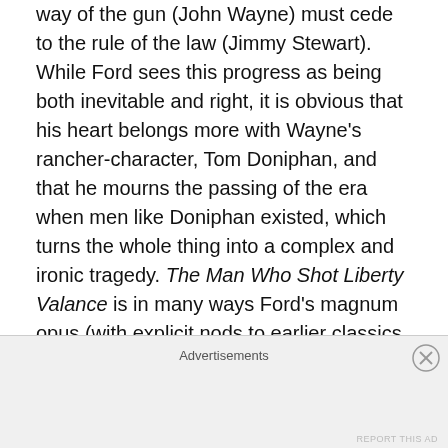way of the gun (John Wayne) must cede to the rule of the law (Jimmy Stewart). While Ford sees this progress as being both inevitable and right, it is obvious that his heart belongs more with Wayne's rancher-character, Tom Doniphan, and that he mourns the passing of the era when men like Doniphan existed, which turns the whole thing into a complex and ironic tragedy. The Man Who Shot Liberty Valance is in many ways Ford's magnum opus (with explicit nods to earlier classics like Stagecoach and Young Mr. Lincoln) and Paramount UK's hi-def transfer does this masterpiece proud. It bests Paramount's very good previous DVD in terms of image and sound — boasting a robust new 5.1 mix in the latter area. One does
Advertisements